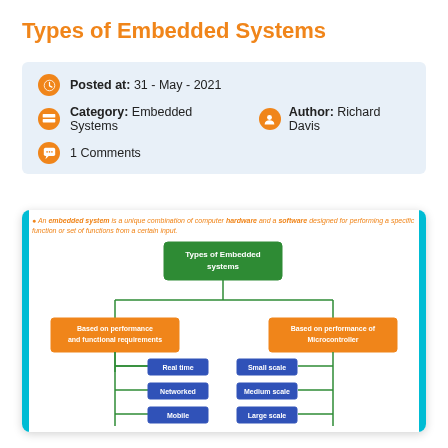Types of Embedded Systems
Posted at: 31 - May - 2021
Category: Embedded Systems   Author: Richard Davis
1 Comments
[Figure (flowchart): Flowchart showing Types of Embedded Systems branching into 'Based on performance and functional requirements' (with Real time, Networked, Mobile sub-nodes) and 'Based on performance of Microcontroller' (with Small scale, Medium scale, and one more sub-node). Header text: An embedded system is a unique combination of computer hardware and a software designed for performing a specific function or set of functions from a certain input.]